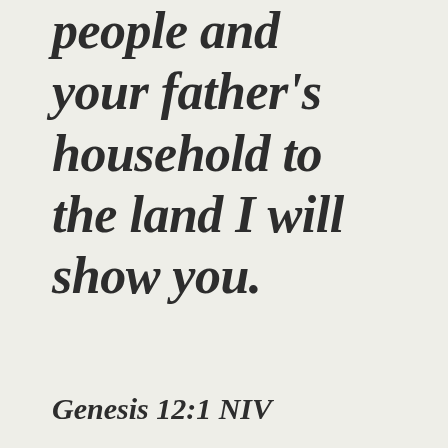people and your father’s household to the land I will show you.
Genesis 12:1 NIV